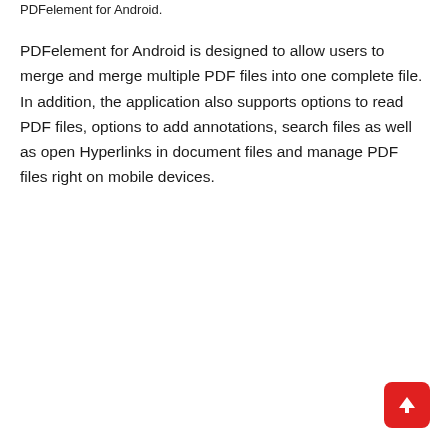PDFelement for Android.
PDFelement for Android is designed to allow users to merge and merge multiple PDF files into one complete file. In addition, the application also supports options to read PDF files, options to add annotations, search files as well as open Hyperlinks in document files and manage PDF files right on mobile devices.